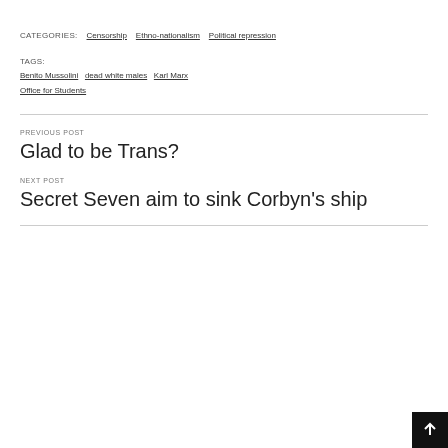CATEGORIES: Censorship  Ethno-nationalism  Political repression
TAGS: Benito Mussolini  dead white males  Karl Marx  Office for Students
PREVIOUS POST
Glad to be Trans?
NEXT POST
Secret Seven aim to sink Corbyn's ship